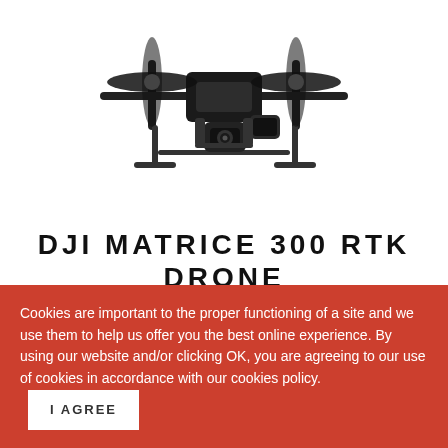[Figure (photo): DJI Matrice 300 RTK drone viewed from below/front, showing four rotors, landing gear, and camera gimbal payload, against a white background.]
DJI MATRICE 300 RTK DRONE (M300 RTK)
R 107,599.00
Tax included.
Cookies are important to the proper functioning of a site and we use them to help us offer you the best online experience. By using our website and/or clicking OK, you are agreeing to our use of cookies in accordance with our cookies policy.
I AGREE